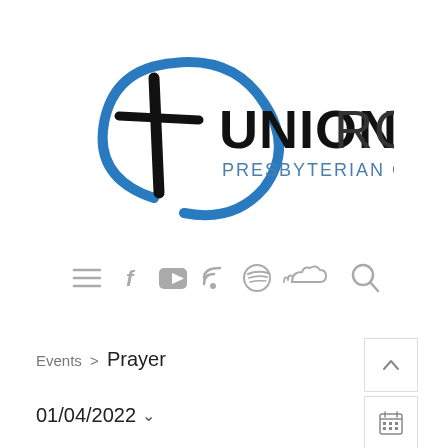[Figure (logo): Union Road Presbyterian Church logo with blue circular brush stroke and cross, bold black UNION and lighter ROAD text, with PRESBYTERIAN CHURCH subtitle in blue-gray]
[Figure (infographic): Navigation bar with icons: hamburger menu, Facebook, YouTube, RSS feed, Spotify, SoundCloud, and search magnifier]
Events > Prayer
01/04/2022 v